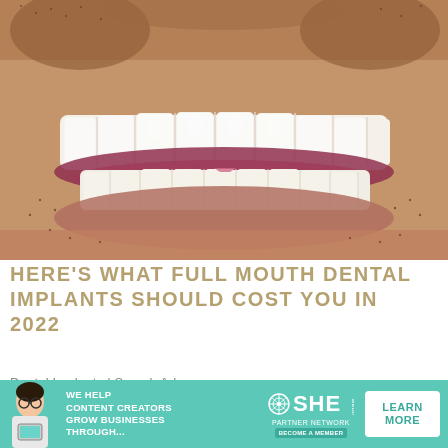[Figure (photo): Close-up photo of a man's smile showing bright white dental implants/veneers on both upper and lower teeth, with facial stubble visible]
HERE'S WHAT FULL MOUTH DENTAL IMPLANTS SHOULD COST YOU IN 2022
Dental Implants | Search Ads
[Figure (infographic): SHE Media advertisement banner: 'WE HELP CONTENT CREATORS GROW BUSINESSES THROUGH...' with SHE PARTNER NETWORK logo and LEARN MORE button]